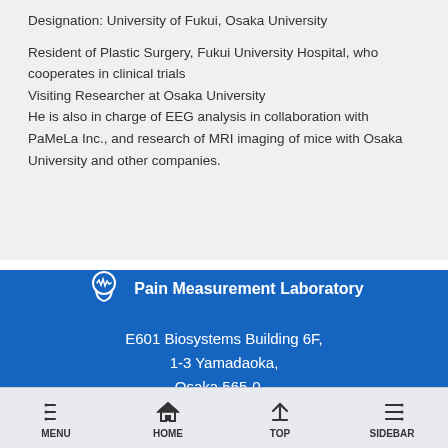Designation: University of Fukui, Osaka University
Resident of Plastic Surgery, Fukui University Hospital, who cooperates in clinical trials
Visiting Researcher at Osaka University
He is also in charge of EEG analysis in collaboration with PaMeLa Inc., and research of MRI imaging of mice with Osaka University and other companies.
[Figure (logo): Pain Measurement Laboratory logo — white head silhouette with brain/wave icon, white text on blue background]
E601 Biosystems Building 6F,
1-3 Yamadaoka,
Osaka 565-0...
MENU  HOME  TOP  SIDEBAR